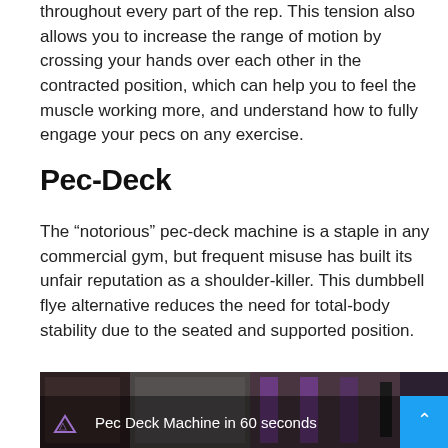throughout every part of the rep. This tension also allows you to increase the range of motion by crossing your hands over each other in the contracted position, which can help you to feel the muscle working more, and understand how to fully engage your pecs on any exercise.
Pec-Deck
The “notorious” pec-deck machine is a staple in any commercial gym, but frequent misuse has built its unfair reputation as a shoulder-killer. This dumbbell flye alternative reduces the need for total-body stability due to the seated and supported position.
[Figure (screenshot): Video thumbnail showing a pec deck machine in a gym with overlay text 'Pec Deck Machine in 60 seconds' and a blue up-arrow button]